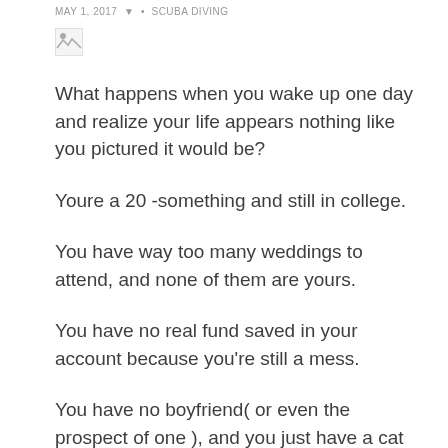MAY 1, 2017 · SCUBA DIVING
[Figure (photo): Broken image placeholder icon]
What happens when you wake up one day and realize your life appears nothing like you pictured it would be?
Youre a 20 -something and still in college.
You have way too many weddings to attend, and none of them are yours.
You have no real fund saved in your account because you're still a mess.
You have no boyfriend( or even the prospect of one ), and you just have a cat or two.
It's scary how day genuinely flies, and it's disappointing if you havent achieved everything you set out for.